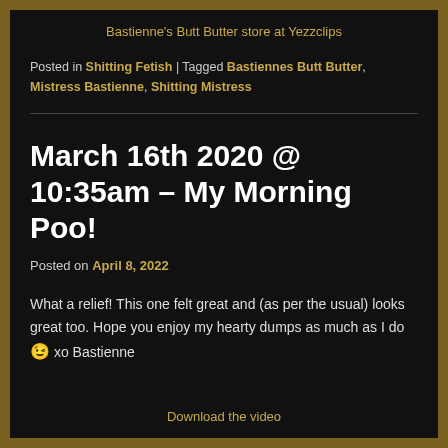Bastienne's Butt Butter store at Yezzclips
Posted in Shitting Fetish | Tagged Bastiennes Butt Butter, Mistress Bastienne, Shitting Mistress
March 16th 2020 @ 10:35am – My Morning Poo!
Posted on April 8, 2022
What a relief! This one felt great and (as per the usual) looks great too. Hope you enjoy my hearty dumps as much as I do 😉 xo Bastienne
Download the video